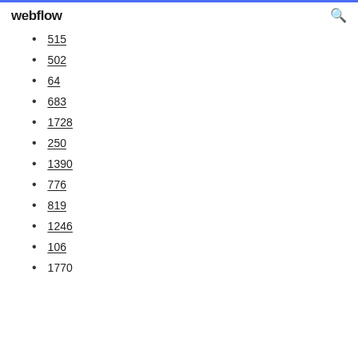webflow
...
515
502
64
683
1728
250
1390
776
819
1246
106
1770